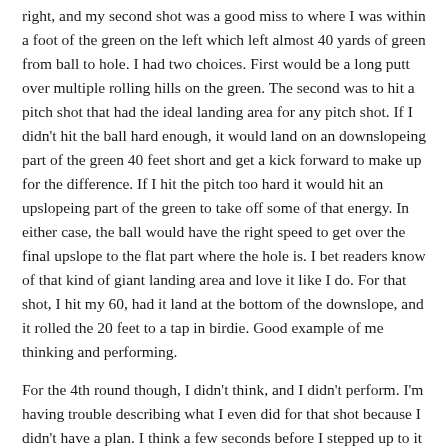right, and my second shot was a good miss to where I was within a foot of the green on the left which left almost 40 yards of green from ball to hole. I had two choices. First would be a long putt over multiple rolling hills on the green. The second was to hit a pitch shot that had the ideal landing area for any pitch shot. If I didn't hit the ball hard enough, it would land on an downslopeing part of the green 40 feet short and get a kick forward to make up for the difference. If I hit the pitch too hard it would hit an upslopeing part of the green to take off some of that energy. In either case, the ball would have the right speed to get over the final upslope to the flat part where the hole is. I bet readers know of that kind of giant landing area and love it like I do. For that shot, I hit my 60, had it land at the bottom of the downslope, and it rolled the 20 feet to a tap in birdie. Good example of me thinking and performing.
For the 4th round though, I didn't think, and I didn't perform. I'm having trouble describing what I even did for that shot because I didn't have a plan. I think a few seconds before I stepped up to it I thought "oohh I can leave this short of the green and it'll bounce right up!" but after that I didn't think about where on the clubface to hit the shot to determine spin, how high the ball should go, and what length of swing would give that result. I just whacked it and the ball didn't even get to the green.